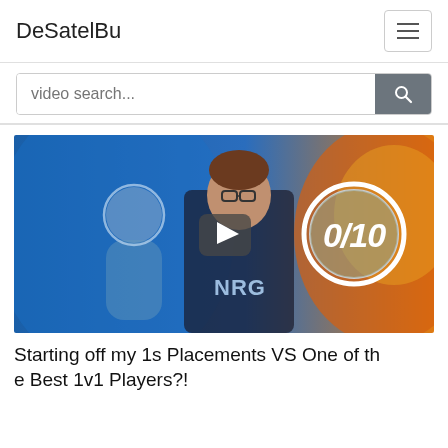DeSatelBu
video search...
[Figure (photo): Gaming esports thumbnail showing a player in an NRG jersey with glasses, a silhouette behind him, and a '0/10' rating badge on the right, with blue and orange background and a play button overlay in the center.]
Starting off my 1s Placements VS One of the Best 1v1 Players?!